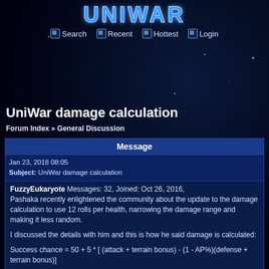UNIWAR
Search  Recent  Hottest  Login
UniWar damage calculation
Forum Index » General Discussion
Message
Jan 23, 2018 08:05
Subject: UniWar damage calculation
FuzzyEukaryote Messages: 32, Joined: Oct 26, 2016,
Pashaka recently enlightened the community about the update to the damage calculation to use 12 rolls per health, narrowing the damage range and making it less random.

I discussed the details with him and this is how he said damage is calculated:

Success chance = 50 + 5 * [ (attack + terrain bonus) - (1 - AP%)(defense + terrain bonus)]

Success chance is then truncated to an integer between 0 and 100.

Then random integers 0 to 100 are compared to success chance and if they are less (but not equal) then the roll counts.